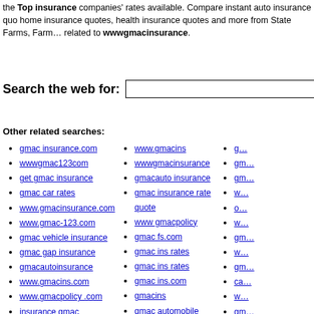the Top insurance companies' rates available. Compare instant auto insurance quotes, home insurance quotes, health insurance quotes and more from State Farms, Farme... related to wwwgmacinsurance.
Search the web for:
Other related searches:
gmac insurance.com
wwwgmac123com
get gmac insurance
gmac car rates
www.gmacinsurance.com
www.gmac-123.com
gmac vehicle insurance
gmac gap insurance
gmacautoinsurance
www.gmacins.com
www.gmacpolicy .com
insurance gmac
www.gmacins
wwwgmacinsurance
gmacauto insurance
gmac insurance rate quote
www gmacpolicy
gmac fs.com
gmac ins rates
gmac ins rates
gmac ins.com
gmacins
gmac automobile insurance
gmac auto policy
g...
gm...
gm...
w...
o...
w...
gm...
w...
gm...
ca...
w...
gm...